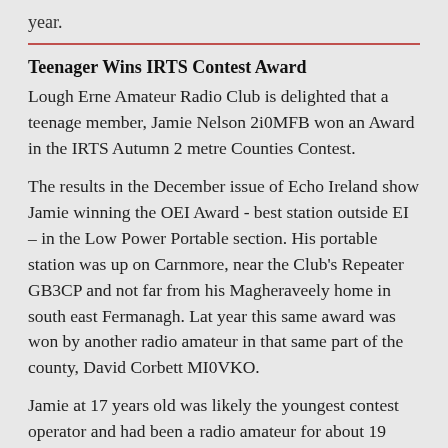year.
Teenager Wins IRTS Contest Award
Lough Erne Amateur Radio Club is delighted that a teenage member, Jamie Nelson 2i0MFB won an Award in the IRTS Autumn 2 metre Counties Contest.
The results in the December issue of Echo Ireland show Jamie winning the OEI Award - best station outside EI – in the Low Power Portable section. His portable station was up on Carnmore, near the Club's Repeater GB3CP and not far from his Magheraveely home in south east Fermanagh. Lat year this same award was won by another radio amateur in that same part of the county, David Corbett MI0VKO.
Jamie at 17 years old was likely the youngest contest operator and had been a radio amateur for about 19 months at the time of the contest.
Jamie did the Club's Foundation course last year, then the examination for his Intermediate examination earlier this year. He has postponed study for the full license examination until after next summer's very important A-level examinations at Portora Royal School.